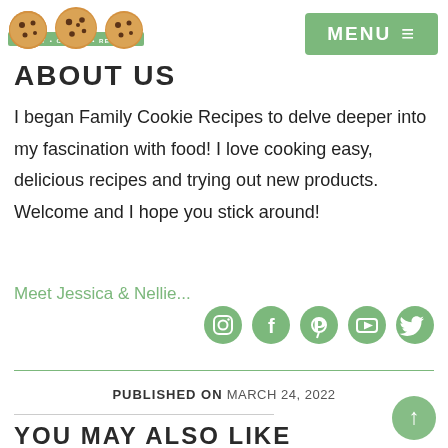[Figure (logo): Family Cookie Recipes logo with three chocolate chip cookie circles and a green banner ribbon reading FAMILY * COOKIE * RECIPES]
[Figure (other): MENU button with hamburger icon on green background]
ABOUT US
I began Family Cookie Recipes to delve deeper into my fascination with food! I love cooking easy, delicious recipes and trying out new products. Welcome and I hope you stick around!
Meet Jessica & Nellie...
[Figure (other): Social media icons: Instagram, Facebook, Pinterest, YouTube, Twitter in sage green]
PUBLISHED ON MARCH 24, 2022
YOU MAY ALSO LIKE